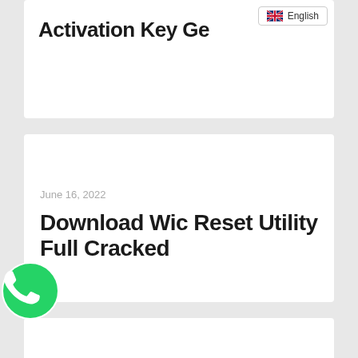Activation Key Ge…
English
June 16, 2022
Download Wic Reset Utility Full Cracked
June 16, 2022
Download King Krule 6 Feet Beneath The Moon Zip
[Figure (logo): WhatsApp green phone icon logo]